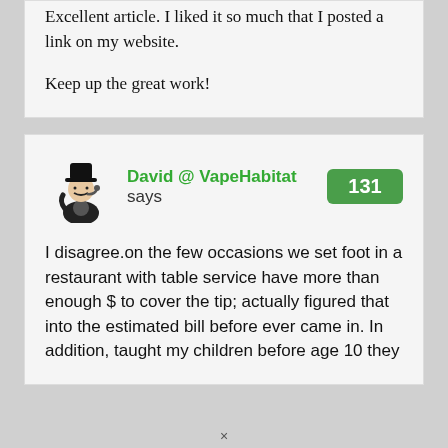Excellent article. I liked it so much that I posted a link on my website.

Keep up the great work!
David @ VapeHabitat says 131
I disagree.on the few occasions we set foot in a restaurant with table service have more than enough $ to cover the tip; actually figured that into the estimated bill before ever came in. In addition, taught my children before age 10 they